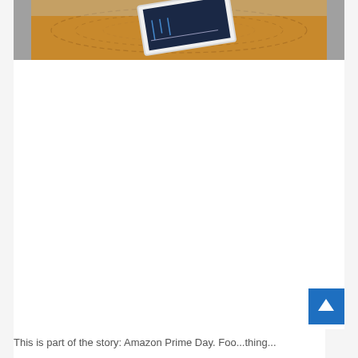[Figure (photo): A tablet device with a dark screen showing a chart or graph, placed on a round wooden surface or tray. Gray fabric visible at the edges.]
This is part of the story: Amazon Prime Day. Foo...thing...